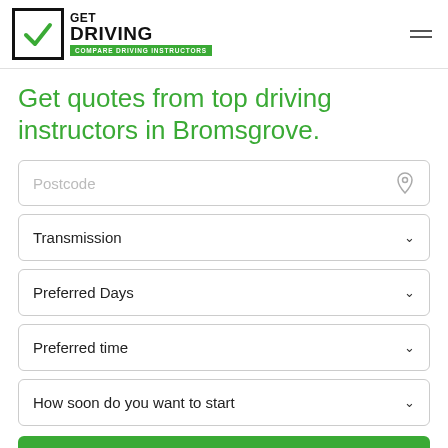GET DRIVING — COMPARE DRIVING INSTRUCTORS
Get quotes from top driving instructors in Bromsgrove.
Postcode
Transmission
Preferred Days
Preferred time
How soon do you want to start
FIND YOUR INSTRUCTOR